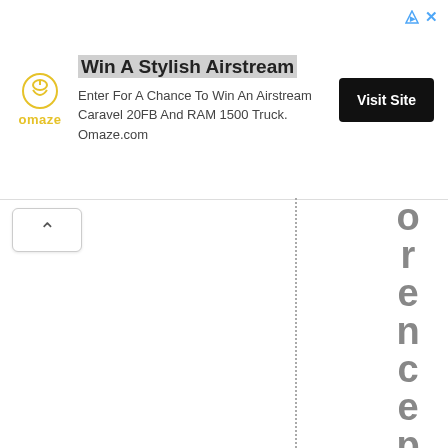[Figure (other): Omaze advertisement banner: Win A Stylish Airstream. Enter For A Chance To Win An Airstream Caravel 20FB And RAM 1500 Truck. Omaze.com. Visit Site button.]
[Figure (screenshot): Browser UI element: back navigation chevron button and vertical dotted line with large bold letters spelling 'orencephys' vertically on the right side]